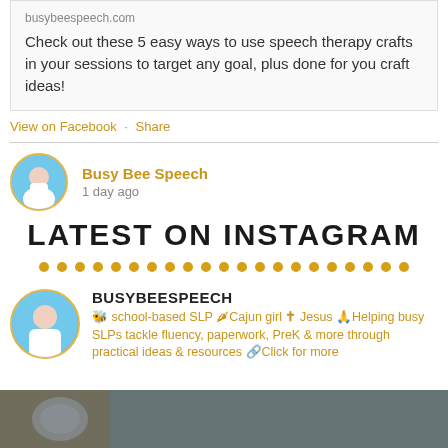busybeespeech.com
Check out these 5 easy ways to use speech therapy crafts in your sessions to target any goal, plus done for you craft ideas!
View on Facebook · Share
Busy Bee Speech
1 day ago
LATEST ON INSTAGRAM
BUSYBEESPEECH
🐝 school-based SLP 🌶Cajun girl ✝ Jesus 🙏Helping busy SLPs tackle fluency, paperwork, PreK & more through practical ideas & resources 🔗Click for more